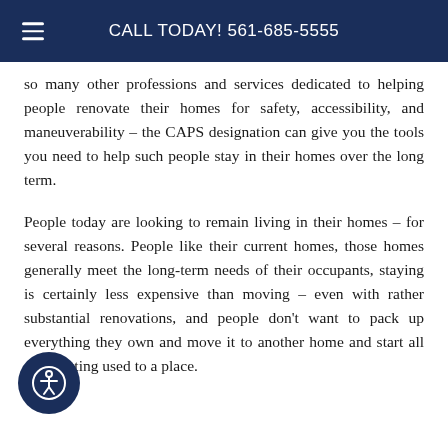CALL TODAY! 561-685-5555
so many other professions and services dedicated to helping people renovate their homes for safety, accessibility, and maneuverability – the CAPS designation can give you the tools you need to help such people stay in their homes over the long term.
People today are looking to remain living in their homes – for several reasons. People like their current homes, those homes generally meet the long-term needs of their occupants, staying is certainly less expensive than moving – even with rather substantial renovations, and people don't want to pack up everything they own and move it to another home and start all over getting used to a place.